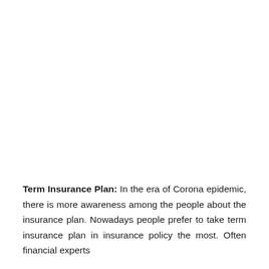Term Insurance Plan: In the era of Corona epidemic, there is more awareness among the people about the insurance plan. Nowadays people prefer to take term insurance plan in insurance policy the most. Often financial experts